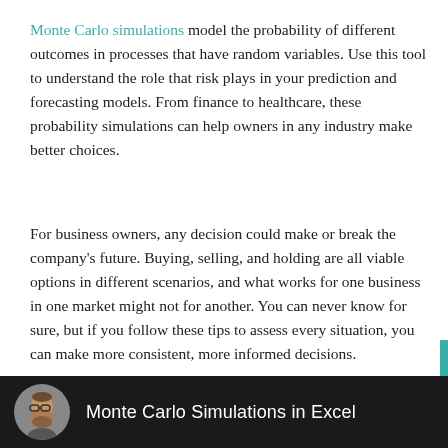Monte Carlo simulations model the probability of different outcomes in processes that have random variables. Use this tool to understand the role that risk plays in your prediction and forecasting models. From finance to healthcare, these probability simulations can help owners in any industry make better choices.
For business owners, any decision could make or break the company's future. Buying, selling, and holding are all viable options in different scenarios, and what works for one business in one market might not for another. You can never know for sure, but if you follow these tips to assess every situation, you can make more consistent, more informed decisions.
[Figure (screenshot): Video thumbnail bar with dark background showing a circular avatar photo of a man with glasses and beard, and the title 'Monte Carlo Simulations in Excel']